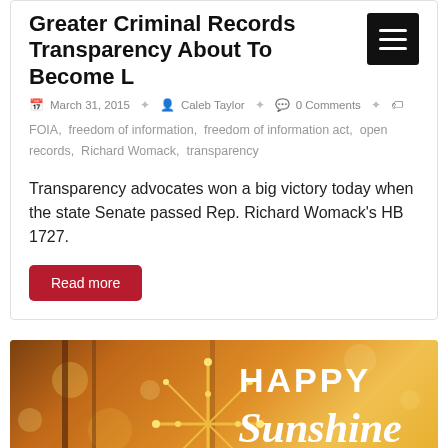Greater Criminal Records Transparency About To Become Law
March 31, 2015  Caleb Taylor  0 Comments
FOIA, freedom of information, freedom of information act, open records, Richard Womack, transparency
Transparency advocates won a big victory today when the state Senate passed Rep. Richard Womack's HB 1727.
[Figure (photo): Happy Sunshine Week banner with golden bokeh background and decorative plant element]